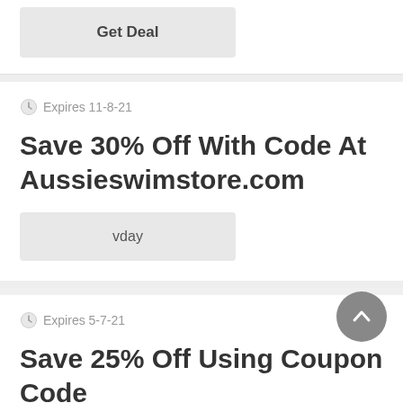Get Deal
Expires 11-8-21
Save 30% Off With Code At Aussieswimstore.com
vday
Expires 5-7-21
Save 25% Off Using Coupon Code